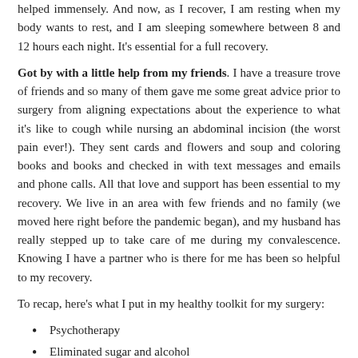helped immensely. And now, as I recover, I am resting when my body wants to rest, and I am sleeping somewhere between 8 and 12 hours each night. It's essential for a full recovery.
Got by with a little help from my friends. I have a treasure trove of friends and so many of them gave me some great advice prior to surgery from aligning expectations about the experience to what it's like to cough while nursing an abdominal incision (the worst pain ever!). They sent cards and flowers and soup and coloring books and books and checked in with text messages and emails and phone calls. All that love and support has been essential to my recovery. We live in an area with few friends and no family (we moved here right before the pandemic began), and my husband has really stepped up to take care of me during my convalescence. Knowing I have a partner who is there for me has been so helpful to my recovery.
To recap, here's what I put in my healthy toolkit for my surgery:
Psychotherapy
Eliminated sugar and alcohol
Daily walks just for me